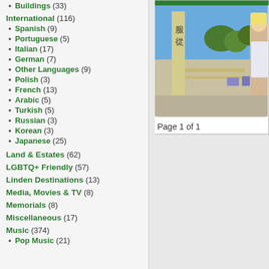Buildings (33)
International (116)
Spanish (9)
Portuguese (5)
Italian (17)
German (7)
Other Languages (9)
Polish (3)
French (13)
Arabic (5)
Turkish (5)
Russian (3)
Korean (3)
Japanese (25)
Land & Estates (62)
LGBTQ+ Friendly (57)
Linden Destinations (13)
Media, Movies & TV (8)
Memorials (8)
Miscellaneous (17)
Music (374)
Pop Music (21)
[Figure (screenshot): Screenshot of a virtual world scene with Asian characters on a pillar, outdoor seating, trees, and an anime-style character on the right side.]
Page 1 of 1